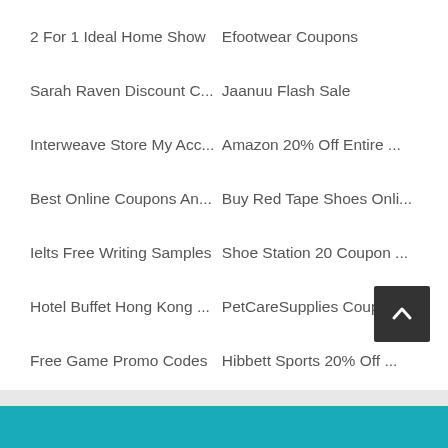2 For 1 Ideal Home Show
Efootwear Coupons
Sarah Raven Discount C...
Jaanuu Flash Sale
Interweave Store My Acc...
Amazon 20% Off Entire ...
Best Online Coupons An...
Buy Red Tape Shoes Onli...
Ielts Free Writing Samples
Shoe Station 20 Coupon ...
Hotel Buffet Hong Kong ...
PetCareSupplies Coupon...
Free Game Promo Codes
Hibbett Sports 20% Off ...
Imagekind Coupon 20% ...
AVLAN Design Voucher ...